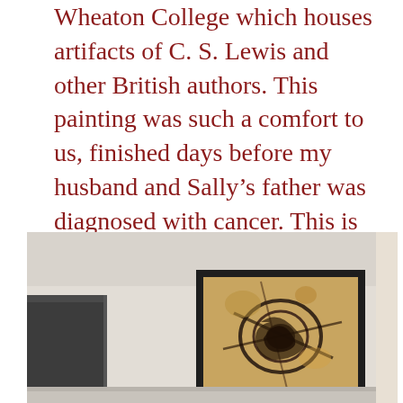Wheaton College which houses artifacts of C. S. Lewis and other British authors. This painting was such a comfort to us, finished days before my husband and Sally's father was diagnosed with cancer. This is just one of the many evidences in our lives that “the Father truly loves us.”
[Figure (photo): A photograph of a room interior showing a framed abstract painting hanging on a light beige wall, with a dark door or panel visible on the left side.]